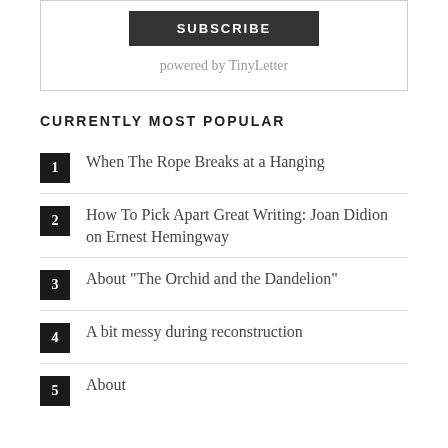[Figure (other): Subscribe button and 'powered by TinyLetter' text inside a bordered box]
CURRENTLY MOST POPULAR
1. When The Rope Breaks at a Hanging
2. How To Pick Apart Great Writing: Joan Didion on Ernest Hemingway
3. About "The Orchid and the Dandelion"
4. A bit messy during reconstruction
5. About